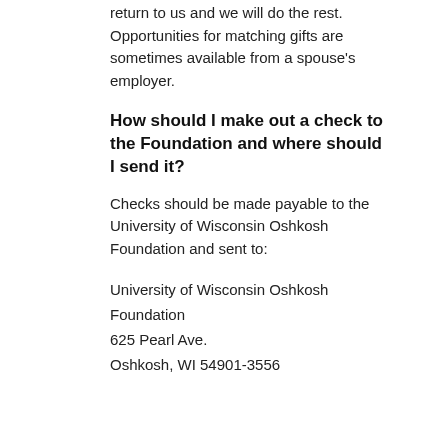return to us and we will do the rest. Opportunities for matching gifts are sometimes available from a spouse's employer.
How should I make out a check to the Foundation and where should I send it?
Checks should be made payable to the University of Wisconsin Oshkosh Foundation and sent to:
University of Wisconsin Oshkosh Foundation
625 Pearl Ave.
Oshkosh, WI 54901-3556
The University of Wisconsin Oshkosh — Where Excellence and Opportunity Meet.
Location